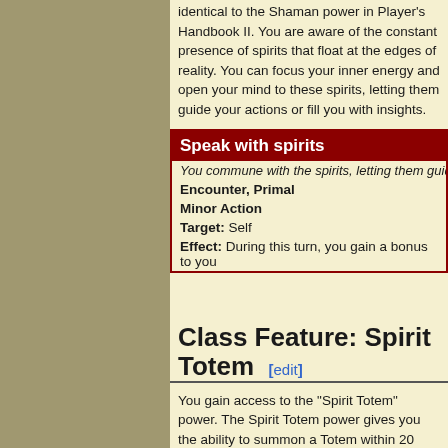identical to the Shaman power in Player's Handbook II. You are aware of the constant presence of spirits that float at the edges of reality. You can focus your inner energy and open your mind to these spirits, letting them guide your actions or fill you with insights.
Speak with spirits
You commune with the spirits, letting them guide
Encounter, Primal
Minor Action
Target: Self
Effect: During this turn, you gain a bonus to you
Class Feature: Spirit Totem [edit]
You gain access to the "Spirit Totem" power. The Spirit Totem power gives you the ability to summon a Totem within 20 squares of you, and provides a bonus to all chosen creatures within